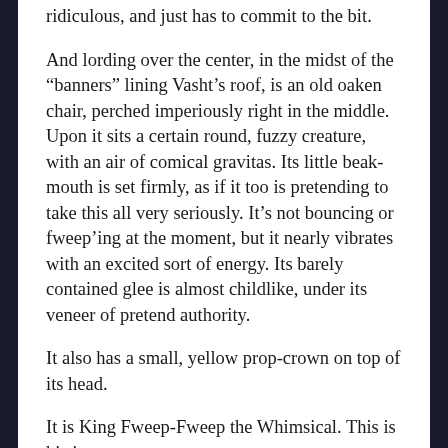ridiculous, and just has to commit to the bit.
And lording over the center, in the midst of the “banners” lining Vasht’s roof, is an old oaken chair, perched imperiously right in the middle. Upon it sits a certain round, fuzzy creature, with an air of comical gravitas. Its little beak-mouth is set firmly, as if it too is pretending to take this all very seriously. It’s not bouncing or fweep’ing at the moment, but it nearly vibrates with an excited sort of energy. Its barely contained glee is almost childlike, under its veneer of pretend authority.
It also has a small, yellow prop-crown on top of its head.
It is King Fweep-Fweep the Whimsical. This is his joust.